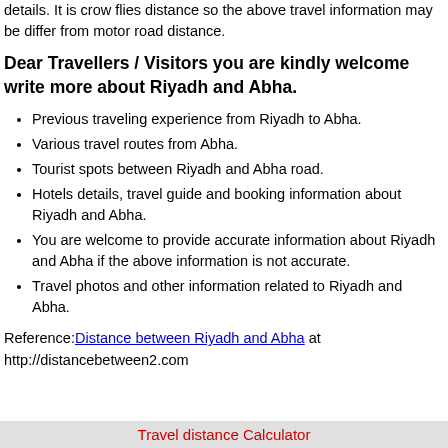details. It is crow flies distance so the above travel information may be differ from motor road distance.
Dear Travellers / Visitors you are kindly welcome write more about Riyadh and Abha.
Previous traveling experience from Riyadh to Abha.
Various travel routes from Abha.
Tourist spots between Riyadh and Abha road.
Hotels details, travel guide and booking information about Riyadh and Abha.
You are welcome to provide accurate information about Riyadh and Abha if the above information is not accurate.
Travel photos and other information related to Riyadh and Abha.
Reference: Distance between Riyadh and Abha at http://distancebetween2.com
Travel distance Calculator